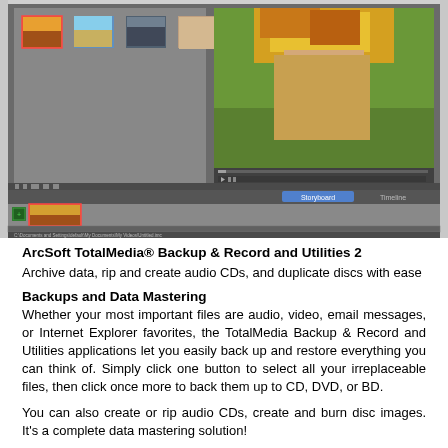[Figure (screenshot): Screenshot of ArcSoft TotalMedia video editing software. Top-left panel shows a media library with four thumbnail images of a woman with floral headpiece, a group photo, a car, and people. Top-right panel shows a large preview of the same woman with floral/leaf headpiece. Bottom section shows a storyboard panel with one thumbnail of the same woman. A dark toolbar and timeline controls are visible. A file path bar at the bottom reads: C:\Documents and Settings\default\My Documents\My Videos\Untitled.imc]
ArcSoft TotalMedia® Backup & Record and Utilities 2
Archive data, rip and create audio CDs, and duplicate discs with ease
Backups and Data Mastering
Whether your most important files are audio, video, email messages, or Internet Explorer favorites, the TotalMedia Backup & Record and Utilities applications let you easily back up and restore everything you can think of. Simply click one button to select all your irreplaceable files, then click once more to back them up to CD, DVD, or BD.
You can also create or rip audio CDs, create and burn disc images. It's a complete data mastering solution!